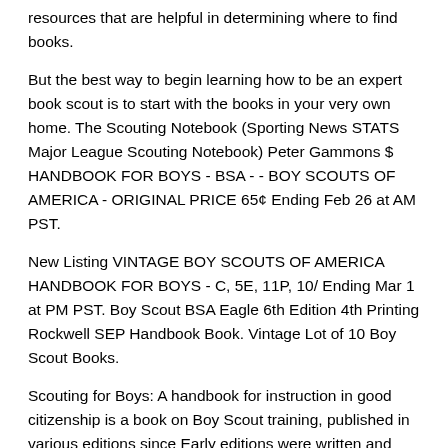resources that are helpful in determining where to find books.
But the best way to begin learning how to be an expert book scout is to start with the books in your very own home. The Scouting Notebook (Sporting News STATS Major League Scouting Notebook) Peter Gammons $ HANDBOOK FOR BOYS - BSA - - BOY SCOUTS OF AMERICA - ORIGINAL PRICE 65¢ Ending Feb 26 at AM PST.
New Listing VINTAGE BOY SCOUTS OF AMERICA HANDBOOK FOR BOYS - C, 5E, 11P, 10/ Ending Mar 1 at PM PST. Boy Scout BSA Eagle 6th Edition 4th Printing Rockwell SEP Handbook Book. Vintage Lot of 10 Boy Scout Books.
Scouting for Boys: A handbook for instruction in good citizenship is a book on Boy Scout training, published in various editions since Early editions were written and illustrated by Robert Baden-Powell with later editions being extensively rewritten by others.
The book was originally a manual for self-instruction in observation, tracking and woodcraft skills as well as self-discipline Author: Robert Baden-Powell. Make your own custom pocket notebooks with Scout